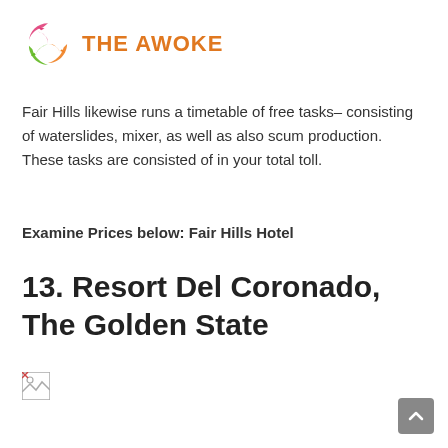[Figure (logo): The Awoke logo: circular swirl icon in pink/orange/green with text 'THE AWOKE' in orange bold uppercase]
Fair Hills likewise runs a timetable of free tasks– consisting of waterslides, mixer, as well as also scum production. These tasks are consisted of in your total toll.
Examine Prices below: Fair Hills Hotel
13. Resort Del Coronado, The Golden State
[Figure (photo): Broken/missing image placeholder]